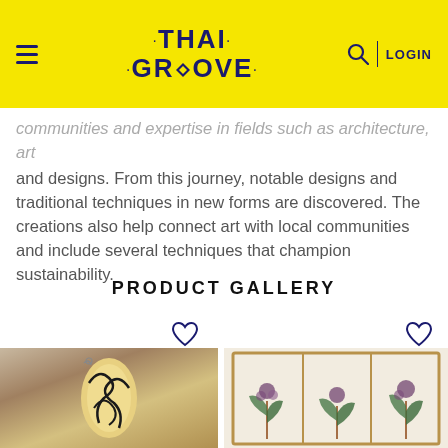THAI GROOVE — LOGIN
communities and expertise in fields such as architecture, art and designs. From this journey, notable designs and traditional techniques in new forms are discovered. The creations also help connect art with local communities and include several techniques that champion sustainability.
PRODUCT GALLERY
[Figure (photo): Yellow and black decorative ceramic or painted ornament with floral/leaf pattern, hanging against grey background]
[Figure (photo): Framed botanical pressed plant display with dried flowers and stems in a wooden frame with three panels]